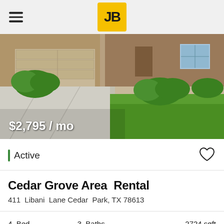JB
[Figure (photo): Exterior photo of a single-family home with brick facade, two-car garage, concrete driveway, and green shrubs and lawn. Price overlay: $2,795 / mo]
Active
Cedar Grove Area Rental
411 Libani Lane Cedar Park, TX 78613
4 Bed   3 Baths   2724 sqft